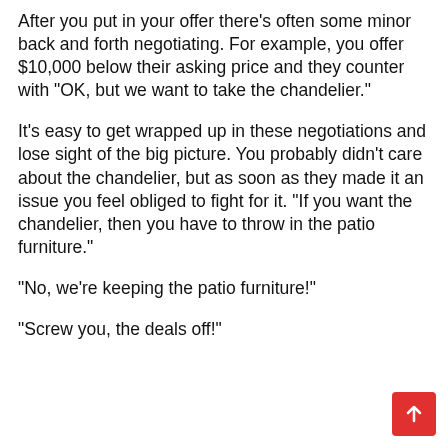After you put in your offer there's often some minor back and forth negotiating. For example, you offer $10,000 below their asking price and they counter with "OK, but we want to take the chandelier."
It's easy to get wrapped up in these negotiations and lose sight of the big picture. You probably didn't care about the chandelier, but as soon as they made it an issue you feel obliged to fight for it. "If you want the chandelier, then you have to throw in the patio furniture."
"No, we're keeping the patio furniture!"
"Screw you, the deals off!"